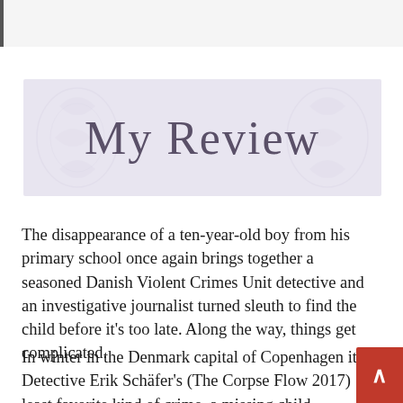[Figure (illustration): Decorative banner with lavender/purple background and floral pattern watermark, containing the cursive text 'My Review' in dark purple script font.]
The disappearance of a ten-year-old boy from his primary school once again brings together a seasoned Danish Violent Crimes Unit detective and an investigative journalist turned sleuth to find the child before it's too late. Along the way, things get complicated.
In winter in the Denmark capital of Copenhagen it's Detective Erik Schäfer's (The Corpse Flow 2017) least favorite kind of crime, a missing child